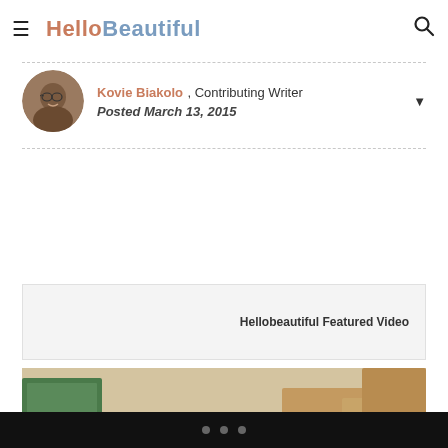HelloBeautiful
Kovie Biakolo , Contributing Writer
Posted March 13, 2015
Hellobeautiful Featured Video
[Figure (photo): A couple, a man and a woman with curly hair, smiling together surrounded by cardboard moving boxes]